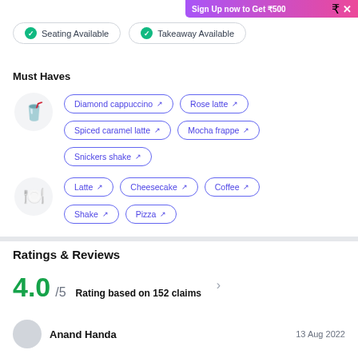Sign Up now to Get ₹500
✓ Seating Available
✓ Takeaway Available
Must Haves
Diamond cappuccino
Rose latte
Spiced caramel latte
Mocha frappe
Snickers shake
Latte
Cheesecake
Coffee
Shake
Pizza
Ratings & Reviews
4.0/5   Rating based on 152 claims
Anand Handa   13 Aug 2022